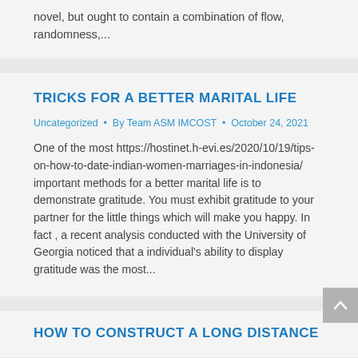novel, but ought to contain a combination of flow, randomness,...
TRICKS FOR A BETTER MARITAL LIFE
Uncategorized • By Team ASM IMCOST • October 24, 2021
One of the most https://hostinet.h-evi.es/2020/10/19/tips-on-how-to-date-indian-women-marriages-in-indonesia/ important methods for a better marital life is to demonstrate gratitude. You must exhibit gratitude to your partner for the little things which will make you happy. In fact , a recent analysis conducted with the University of Georgia noticed that a individual's ability to display gratitude was the most...
HOW TO CONSTRUCT A LONG DISTANCE